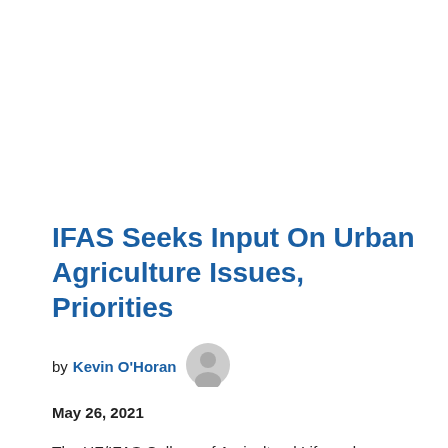IFAS Seeks Input On Urban Agriculture Issues, Priorities
by Kevin O'Horan
May 26, 2021
The UF/IFAS College of Agricultural Life and Sciences sent the following request May 26, re an urban agriculture survey: Tell us about your urban